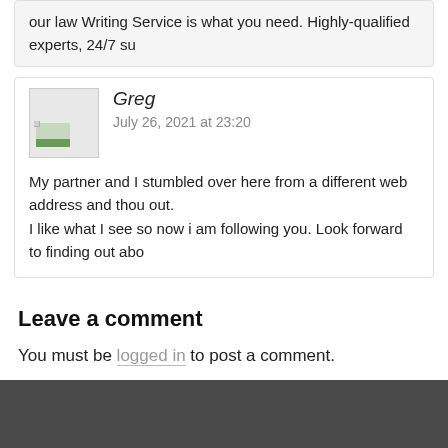our law Writing Service is what you need. Highly-qualified experts, 24/7 su
Greg
July 26, 2021 at 23:20
My partner and I stumbled over here from a different web address and thou out.
I like what I see so now i am following you. Look forward to finding out abo
Leave a comment
You must be logged in to post a comment.